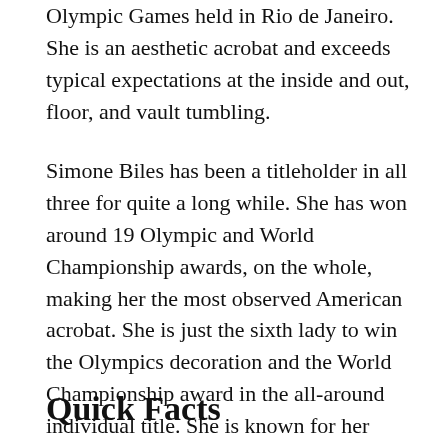Olympic Games held in Rio de Janeiro. She is an aesthetic acrobat and exceeds typical expectations at the inside and out, floor, and vault tumbling.
Simone Biles has been a titleholder in all three for quite a long while. She has won around 19 Olympic and World Championship awards, on the whole, making her the most observed American acrobat. She is just the sixth lady to win the Olympics decoration and the World Championship award in the all-around individual title. She is known for her appearance on ‘Dancing with the Stars.’ She right now lives in Spring, Texas, USA.
Quick Facts